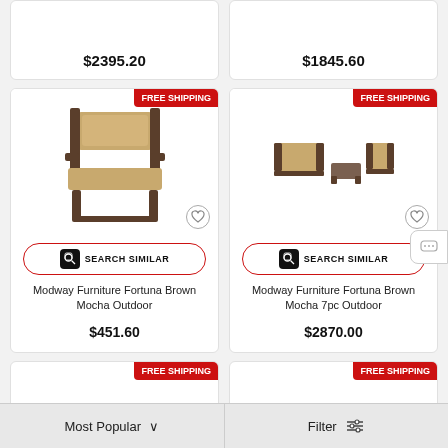$2395.20
$1845.60
[Figure (photo): Modway Furniture Fortuna Brown Mocha outdoor chair with brown metal frame and tan cushions]
FREE SHIPPING
SEARCH SIMILAR
Modway Furniture Fortuna Brown Mocha Outdoor
$451.60
[Figure (photo): Modway Furniture Fortuna Brown Mocha 7pc outdoor sectional set with sofa, chairs and coffee table]
FREE SHIPPING
SEARCH SIMILAR
Modway Furniture Fortuna Brown Mocha 7pc Outdoor
$2870.00
FREE SHIPPING
FREE SHIPPING
Most Popular
Filter